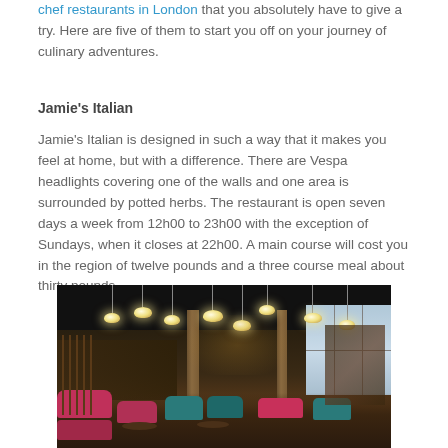chef restaurants in London that you absolutely have to give a try. Here are five of them to start you off on your journey of culinary adventures.
Jamie’s Italian
Jamie’s Italian is designed in such a way that it makes you feel at home, but with a difference. There are Vespa headlights covering one of the walls and one area is surrounded by potted herbs. The restaurant is open seven days a week from 12h00 to 23h00 with the exception of Sundays, when it closes at 22h00. A main course will cost you in the region of twelve pounds and a three course meal about thirty pounds.
[Figure (photo): Interior of Jamie’s Italian restaurant showing a dimly lit dining area with pendant lights hanging from a dark ceiling, pink/magenta and teal upholstered seating, wooden tables, and windows on the right side.]